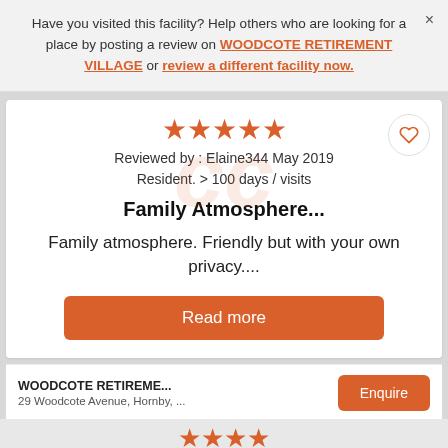Have you visited this facility? Help others who are looking for a place by posting a review on WOODCOTE RETIREMENT VILLAGE or review a different facility now.
[Figure (other): Five orange star rating icons]
Reviewed by : Elaine344 May 2019
Resident. > 100 days / visits
Family Atmosphere...
Family atmosphere. Friendly but with your own privacy....
Read more
WOODCOTE RETIREME...
29 Woodcote Avenue, Hornby, ...
Enquire
[Figure (other): Four and a half orange star rating icons at the bottom]